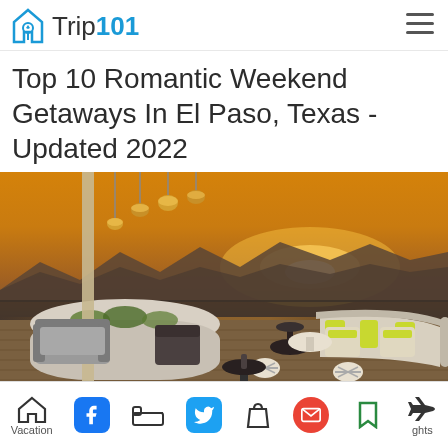Trip101
Top 10 Romantic Weekend Getaways In El Paso, Texas - Updated 2022
[Figure (photo): Rooftop terrace bar/lounge at sunset with desert mountain views, pendant lights, stylish outdoor furniture with yellow-green accent pillows]
Vacation | Hotels | Bags | Flights